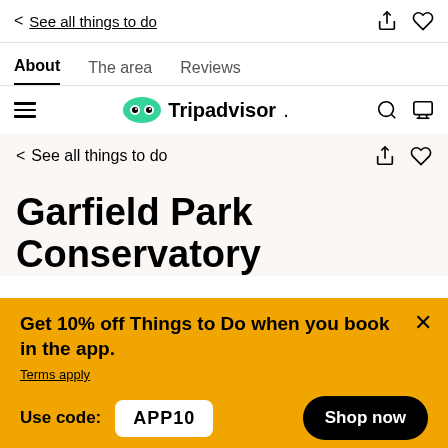< See all things to do
About  The area  Reviews
Tripadvisor navigation bar
< See all things to do
Garfield Park Conservatory
Get 10% off Things to Do when you book in the app. Terms apply
Use code: APP10   Shop now